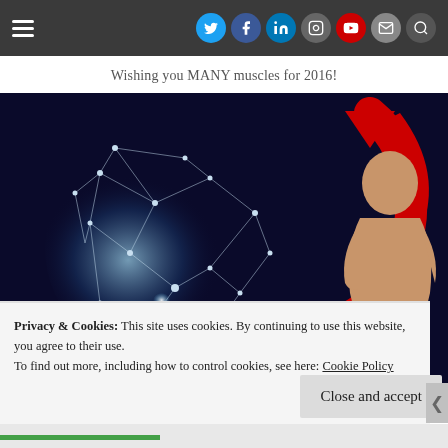Navigation bar with hamburger menu and social media icons: Twitter, Facebook, LinkedIn, Instagram, YouTube, Mail, Search
Wishing you MANY muscles for 2016!
[Figure (photo): Dark background image showing a glowing neural network brain illustration on the left with a large red arrow pointing from a muscular bald man on the right back toward the brain. Partial red text visible at the bottom of the image.]
Privacy & Cookies: This site uses cookies. By continuing to use this website, you agree to their use.
To find out more, including how to control cookies, see here:
Cookie Policy
Close and accept